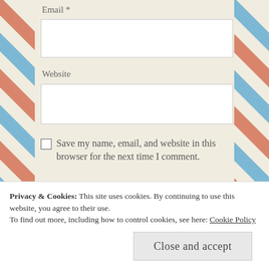Email *
Website
Save my name, email, and website in this browser for the next time I comment.
Privacy & Cookies: This site uses cookies. By continuing to use this website, you agree to their use.
To find out more, including how to control cookies, see here: Cookie Policy
Close and accept